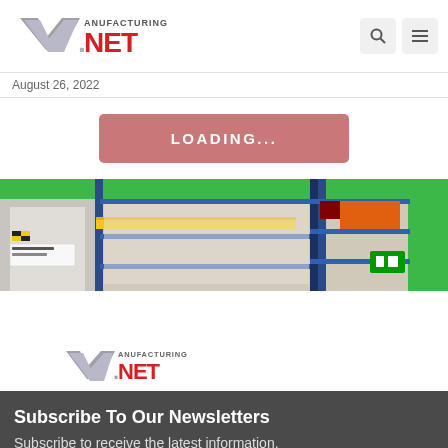[Figure (logo): Manufacturing.net logo in header]
August 26, 2022
[Figure (other): Pink/salmon colored LOADING... button]
[Figure (photo): Warehouse shelving photo with green accent bars]
[Figure (logo): Manufacturing.net logo smaller centered below photo]
Subscribe To Our Newsletters
Subscribe to receive the latest information.